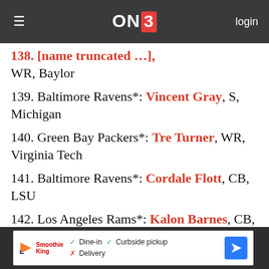ON3 — login
138. [truncated]: [player name], WR, Baylor
139. Baltimore Ravens*: Vincent Gray, S, Michigan
140. Green Bay Packers*: Tre Turner, WR, Virginia Tech
141. Baltimore Ravens*: Cordale Flott, CB, LSU
142. Los Angeles Rams*: Kalon Barnes, CB, Baylor
143. Tennessee Titans*: Alec Lindstrom, OC, Boston College